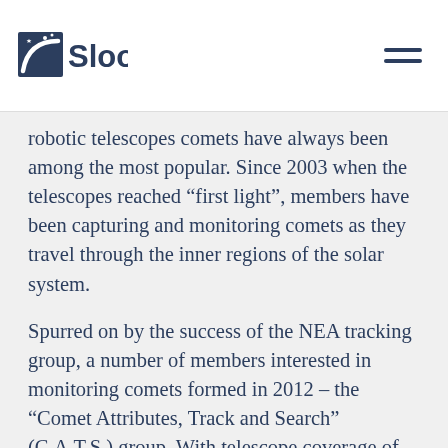Slooh
robotic telescopes comets have always been among the most popular. Since 2003 when the telescopes reached “first light”, members have been capturing and monitoring comets as they travel through the inner regions of the solar system.
Spurred on by the success of the NEA tracking group, a number of members interested in monitoring comets formed in 2012 – the “Comet Attributes, Track and Search” (C.A.T.S.) group. With telescope coverage of both the northern and southern hemisphere, Slooh members were able to monitor comets when they fell out-of-reach from northern hemisphere amateur and professional